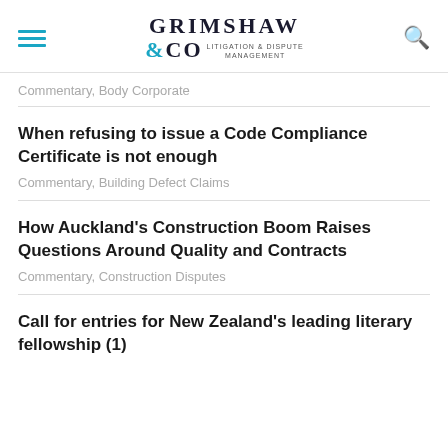GRIMSHAW & CO LITIGATION & DISPUTE MANAGEMENT
Commentary, Body Corporate
When refusing to issue a Code Compliance Certificate is not enough
Commentary, Building Defect Claims
How Auckland's Construction Boom Raises Questions Around Quality and Contracts
Commentary, Construction Disputes
Call for entries for New Zealand's leading literary fellowship (1)